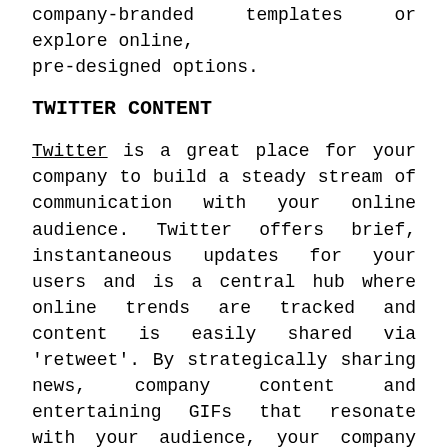company-branded templates or explore online, pre-designed options.
TWITTER CONTENT
Twitter is a great place for your company to build a steady stream of communication with your online audience. Twitter offers brief, instantaneous updates for your users and is a central hub where online trends are tracked and content is easily shared via 'retweet'. By strategically sharing news, company content and entertaining GIFs that resonate with your audience, your company could become the latest trending topic.
News
News is the most common reason people use